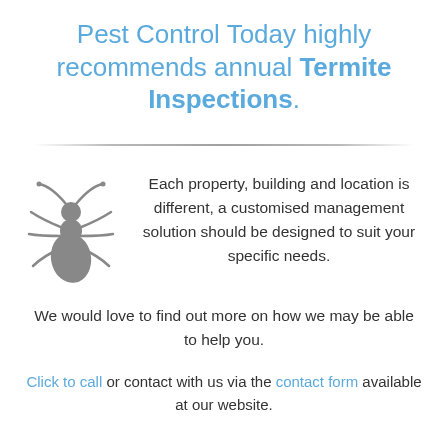Pest Control Today highly recommends annual Termite Inspections.
Each property, building and location is different, a customised management solution should be designed to suit your specific needs.
We would love to find out more on how we may be able to help you.
Click to call or contact with us via the contact form available at our website.